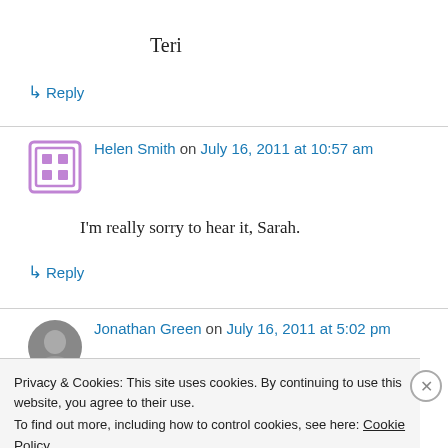Teri
↳ Reply
Helen Smith on July 16, 2011 at 10:57 am
I'm really sorry to hear it, Sarah.
↳ Reply
Jonathan Green on July 16, 2011 at 5:02 pm
Privacy & Cookies: This site uses cookies. By continuing to use this website, you agree to their use.
To find out more, including how to control cookies, see here: Cookie Policy
Close and accept